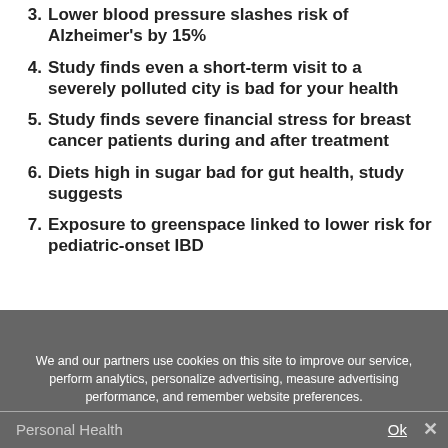3. Lower blood pressure slashes risk of Alzheimer's by 15%
4. Study finds even a short-term visit to a severely polluted city is bad for your health
5. Study finds severe financial stress for breast cancer patients during and after treatment
6. Diets high in sugar bad for gut health, study suggests
7. Exposure to greenspace linked to lower risk for pediatric-onset IBD
We and our partners use cookies on this site to improve our service, perform analytics, personalize advertising, measure advertising performance, and remember website preferences.
Personal Health   Ok